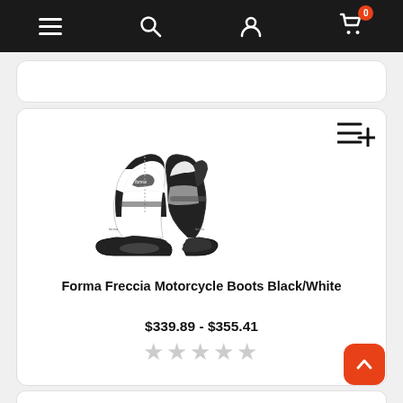Navigation bar with menu, search, profile, and cart (0 items) icons
[Figure (screenshot): Partial product card visible at top of page, white rounded rectangle]
[Figure (photo): Forma Freccia Motorcycle Boots in Black/White colorway — two boots shown side by side on white background]
Forma Freccia Motorcycle Boots Black/White
$339.89 - $355.41
★★★★★ (empty stars, no rating)
[Figure (screenshot): Partial product card visible at bottom of page, white rounded rectangle]